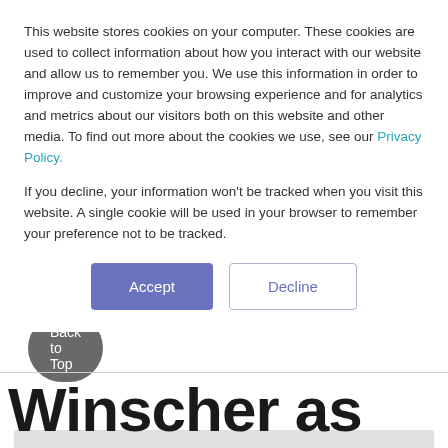This website stores cookies on your computer. These cookies are used to collect information about how you interact with our website and allow us to remember you. We use this information in order to improve and customize your browsing experience and for analytics and metrics about our visitors both on this website and other media. To find out more about the cookies we use, see our Privacy Policy.
If you decline, your information won't be tracked when you visit this website. A single cookie will be used in your browser to remember your preference not to be tracked.
Winscher as Chief Operating Officer
By Nextech on Aug 25, 2020 8:08:58 AM
5 min read